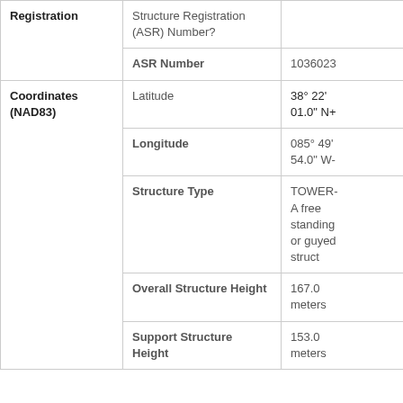| Category | Field | Value |
| --- | --- | --- |
| Registration | Structure Registration (ASR) Number? |  |
|  | ASR Number | 1036023 |
| Coordinates (NAD83) | Latitude | 38° 22' 01.0" N+ |
|  | Longitude | 085° 49' 54.0" W- |
|  | Structure Type | TOWER- A free standing or guyed struct |
|  | Overall Structure Height | 167.0 meters |
|  | Support Structure Height | 153.0 meters |